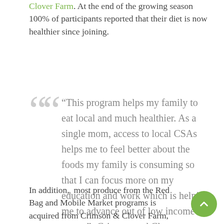Clover Farm. At the end of the growing season 100% of participants reported that their diet is now healthier since joining.
“This program helps my family to eat local and much healthier. As a single mom, access to local CSAs helps me to feel better about the foods my family is consuming so that I can focus more on my education and work which is helping me to advance out of low income status.”- Crimson and Clover shareholder
In addition,  most produce from the Red Bag and Mobile Market programs is acquired from Crimson & Clover Farm,